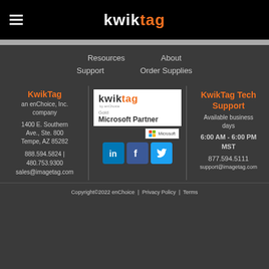kwiktag
Resources
About
Support
Order Supplies
KwikTag
an enChoice, Inc. company
1400 E. Southern Ave., Ste. 800
Tempe, AZ 85282
888.594.5824 | 480.753.9300
sales@imagetag.com
[Figure (logo): KwikTag by enChoice logo, Gold Microsoft Partner badge, Microsoft badge, LinkedIn, Facebook, Twitter social icons]
KwikTag Tech Support
Available business days
6:00 AM - 6:00 PM MST
877.594.5111
support@imagetag.com
Copyright©2022 enChoice | Privacy Policy | Terms